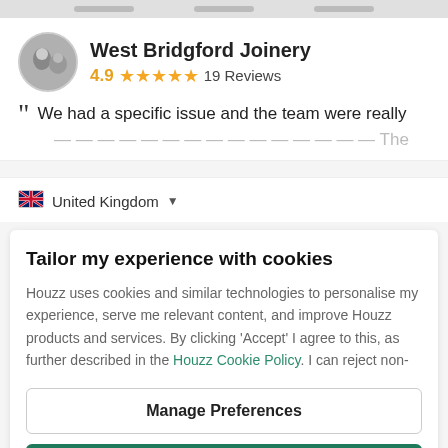[Figure (screenshot): Top browser bar with grey tabs area]
[Figure (photo): Circular avatar photo showing people for West Bridgford Joinery]
West Bridgford Joinery
4.9 ★★★★★ 19 Reviews
We had a specific issue and the team were really
United Kingdom
Tailor my experience with cookies
Houzz uses cookies and similar technologies to personalise my experience, serve me relevant content, and improve Houzz products and services. By clicking 'Accept' I agree to this, as further described in the Houzz Cookie Policy. I can reject non-
Manage Preferences
Accept